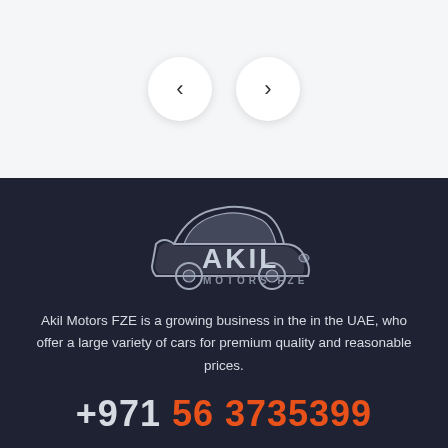[Figure (illustration): Navigation arrows: left chevron and right chevron in circular white buttons on a light gray background]
[Figure (logo): Akil Motors FZE logo - stylized silver car graphic with bold text AKIL and smaller text MOTORS FZE on dark background]
Akil Motors FZE is a growing business in the in the UAE, who offer a large variety of cars for premium quality and reasonable prices.
+971 56 3735399